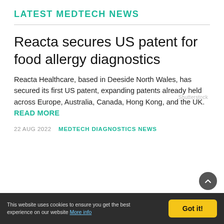LATEST MEDTECH NEWS
Reacta secures US patent for food allergy diagnostics
Reacta Healthcare, based in Deeside North Wales, has secured its first US patent, expanding patents already held across Europe, Australia, Canada, Hong Kong, and the UK. READ MORE
22 AUG 2022   MEDTECH DIAGNOSTICS NEWS
Shutterstock
This website uses cookies to ensure you get the best experience on our website More info   Got it!